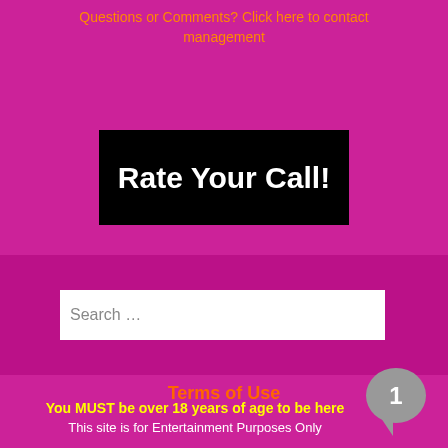Questions or Comments? Click here to contact management
[Figure (other): Black banner image with white bold text reading 'Rate Your Call!']
Search ...
Terms of Use
You MUST be over 18 years of age to be here
This site is for Entertainment Purposes Only